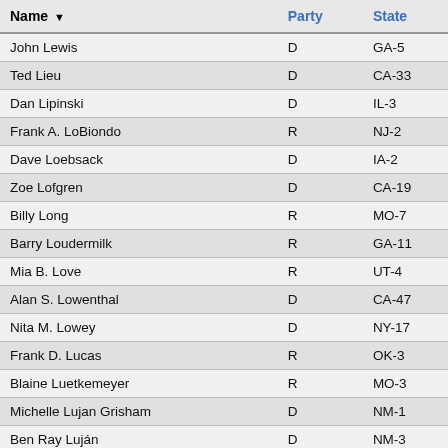| Name ▼ | Party | State |
| --- | --- | --- |
| John Lewis | D | GA-5 |
| Ted Lieu | D | CA-33 |
| Dan Lipinski | D | IL-3 |
| Frank A. LoBiondo | R | NJ-2 |
| Dave Loebsack | D | IA-2 |
| Zoe Lofgren | D | CA-19 |
| Billy Long | R | MO-7 |
| Barry Loudermilk | R | GA-11 |
| Mia B. Love | R | UT-4 |
| Alan S. Lowenthal | D | CA-47 |
| Nita M. Lowey | D | NY-17 |
| Frank D. Lucas | R | OK-3 |
| Blaine Luetkemeyer | R | MO-3 |
| Michelle Lujan Grisham | D | NM-1 |
| Ben Ray Luján | D | NM-3 |
| Cynthia M. Lummis | R | WY |
| Stephen F. Lynch | D | MA-8 |
| Thomas MacArthur | R | NJ-3 |
| Carolyn B. Maloney | D | NY-12 |
| Sean Patrick Maloney | D | NY-18 |
| Kenny Marchant | R | TX-24 |
| Tom Marino | R | PA-10 |